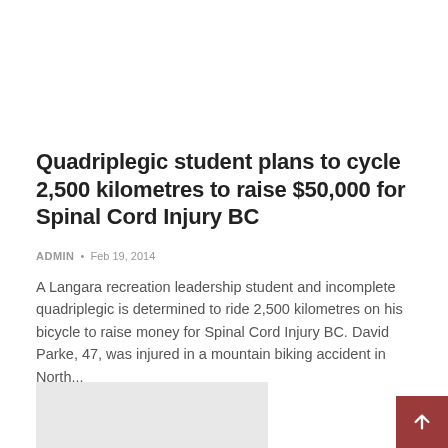Quadriplegic student plans to cycle 2,500 kilometres to raise $50,000 for Spinal Cord Injury BC
ADMIN • Feb 19, 2014
A Langara recreation leadership student and incomplete quadriplegic is determined to ride 2,500 kilometres on his bicycle to raise money for Spinal Cord Injury BC. David Parke, 47, was injured in a mountain biking accident in North...
[Figure (photo): Gray placeholder image block]